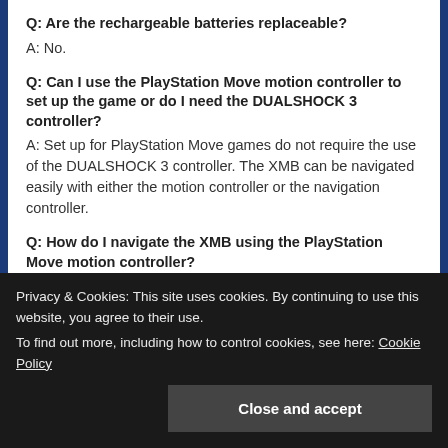Q: Are the rechargeable batteries replaceable?
A: No.
Q: Can I use the PlayStation Move motion controller to set up the game or do I need the DUALSHOCK 3 controller?
A: Set up for PlayStation Move games do not require the use of the DUALSHOCK 3 controller. The XMB can be navigated easily with either the motion controller or the navigation controller.
Q: How do I navigate the XMB using the PlayStation Move motion controller?
A: Hold down the T button and gesture UP, DOWN, LEFT or RIGHT to navigate the XMB. Press the Move button to activate an item. Note that the sphere will not be
Privacy & Cookies: This site uses cookies. By continuing to use this website, you agree to their use.
To find out more, including how to control cookies, see here: Cookie Policy
Close and accept